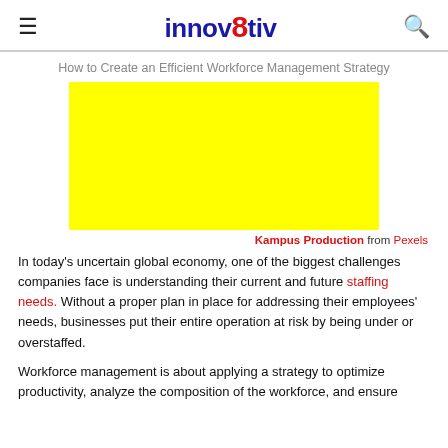innov8tiv
How to Create an Efficient Workforce Management Strategy
[Figure (photo): Yellow rectangle placeholder image for article photo]
Kampus Production from Pexels
In today's uncertain global economy, one of the biggest challenges companies face is understanding their current and future staffing needs. Without a proper plan in place for addressing their employees' needs, businesses put their entire operation at risk by being under or overstaffed.
Workforce management is about applying a strategy to optimize productivity, analyze the composition of the workforce, and ensure